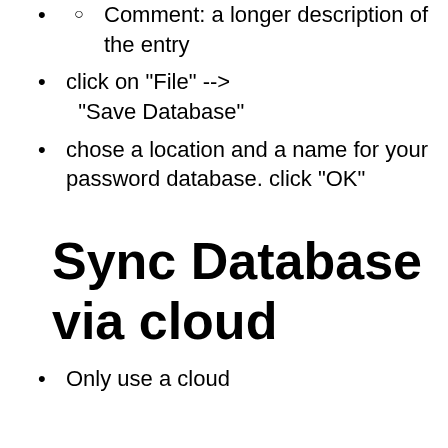Comment: a longer description of the entry
click on "File" --> "Save Database"
chose a location and a name for your password database. click "OK"
Sync Database via cloud
Only use a cloud